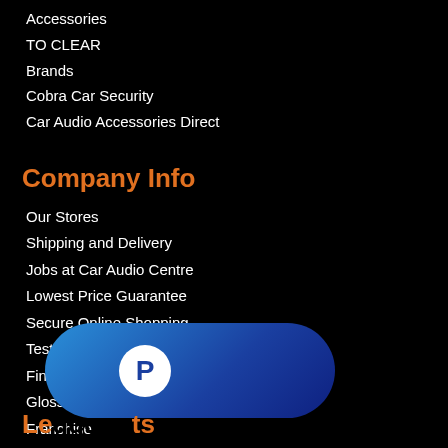Accessories
TO CLEAR
Brands
Cobra Car Security
Car Audio Accessories Direct
Company Info
Our Stores
Shipping and Delivery
Jobs at Car Audio Centre
Lowest Price Guarantee
Secure Online Shopping
Testimonials
Finance
Glossary
Franchise
Rec...
[Figure (logo): PayPal logo button — blue pill-shaped button with PayPal P icon]
Le... ...ts